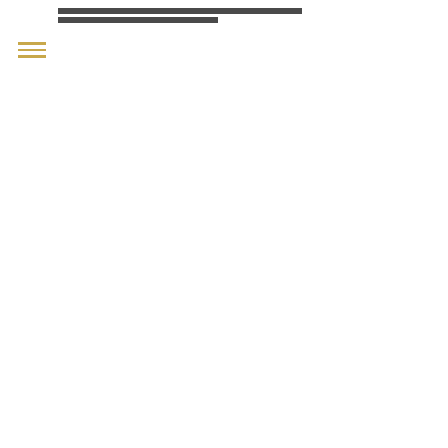[redacted paragraph at top of page]
[redacted section header with em dash]
[redacted paragraph 1]
[redacted paragraph 2]
[redacted paragraph 3]
[redacted paragraph 4]
[redacted paragraph 5]
[redacted paragraph 6]
[redacted partial paragraph at bottom]